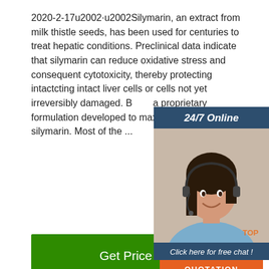2020-2-17u2002·u2002Silymarin, an extract from milk thistle seeds, has been used for centuries to treat hepatic conditions. Preclinical data indicate that silymarin can reduce oxidative stress and consequent cytotoxicity, thereby protecting intact liver cells or cells not yet irreversibly damaged. B... a proprietary formulation developed to maximize bioavailability of silymarin. Most of the ...
[Figure (other): Green 'Get Price' button]
[Figure (other): Chat widget overlay with '24/7 Online' header, female customer service agent with headset, 'Click here for free chat!' text, and orange QUOTATION button]
[Figure (photo): Close-up photo of a mass of red/pink earthworms tangled together]